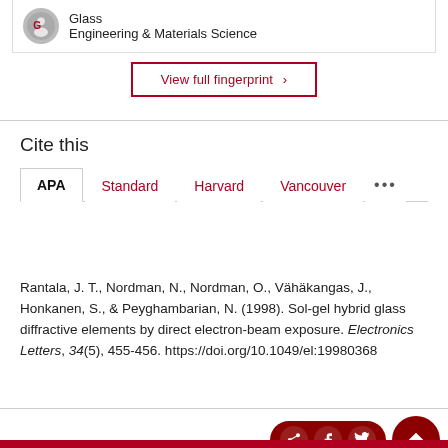Glass
Engineering & Materials Science
View full fingerprint ›
Cite this
APA | Standard | Harvard | Vancouver | ...
Rantala, J. T., Nordman, N., Nordman, O., Vähäkangas, J., Honkanen, S., & Peyghambarian, N. (1998). Sol-gel hybrid glass diffractive elements by direct electron-beam exposure. Electronics Letters, 34(5), 455-456. https://doi.org/10.1049/el:19980368
[Figure (illustration): Social sharing bar with share, Facebook, Twitter icons and scroll-to-top button]